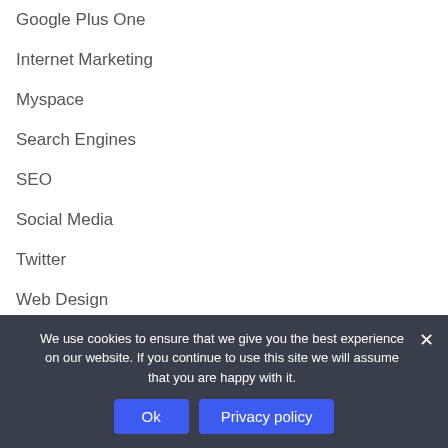Google Plus One
Internet Marketing
Myspace
Search Engines
SEO
Social Media
Twitter
Web Design
Web Services
We use cookies to ensure that we give you the best experience on our website. If you continue to use this site we will assume that you are happy with it.
Ok
Privacy policy